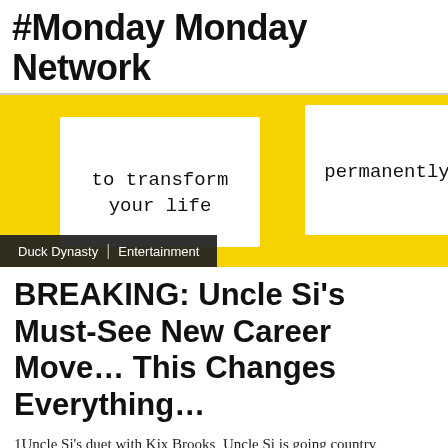#Monday Monday Network
[Figure (photo): Yellow background with two white cards reading 'to transform your life' and 'permanently']
Duck Dynasty | Entertainment
BREAKING: Uncle Si's Must-See New Career Move… This Changes Everything…
1Uncle Si's duet with Kix Brooks  Uncle Si is going country (source:…
monday · January 5, 2017
[Figure (photo): Two people shown from shoulders up, partial faces visible at bottom of page]